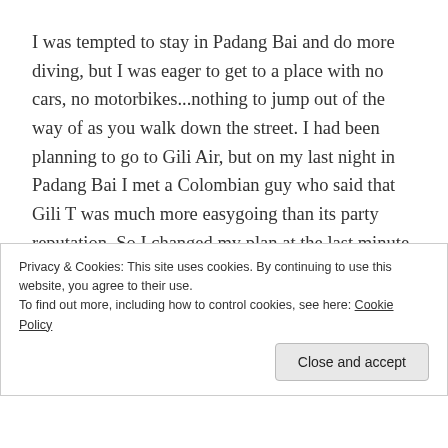I was tempted to stay in Padang Bai and do more diving, but I was eager to get to a place with no cars, no motorbikes...nothing to jump out of the way of as you walk down the street. I had been planning to go to Gili Air, but on my last night in Padang Bai I met a Colombian guy who said that Gili T was much more easygoing than its party reputation. So I changed my plan at the last minute, and I'm glad I did. There's enough social life here to be interesting, but it's not the Kuta-like all-night rave that I was expecting.
Privacy & Cookies: This site uses cookies. By continuing to use this website, you agree to their use.
To find out more, including how to control cookies, see here: Cookie Policy
Close and accept